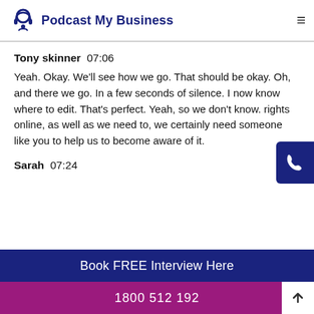Podcast My Business
Tony skinner  07:06
Yeah. Okay. We'll see how we go. That should be okay. Oh, and there we go. In a few seconds of silence. I now know where to edit. That's perfect. Yeah, so we don't know. rights online, as well as we need to, we certainly need someone like you to help us to become aware of it.
Sarah  07:24
Book FREE Interview Here
1800 512 192